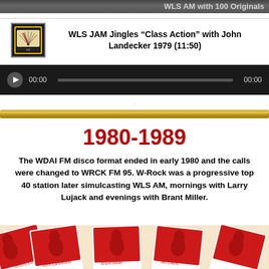[Figure (photo): Top cropped image banner, dark gray background with partial white text on right side]
[Figure (screenshot): Small VU meter / audio level gauge icon in dark frame]
WLS JAM Jingles “Class Action” with John Landecker 1979 (11:50)
[Figure (screenshot): Audio player bar: dark background with play button triangle, 00:00 start time, gray progress bar, 00:00 end time]
[Figure (infographic): Gold horizontal decorative bar/divider]
1980-1989
The WDAI FM disco format ended in early 1980 and the calls were changed to WRCK FM 95. W-Rock was a progressive top 40 station later simulcasting WLS AM, mornings with Larry Lujack and evenings with Brant Miller.
[Figure (photo): Bottom photo showing fan-spread trading cards with portraits of radio personalities including Tommy Edwards, John Landecker, Brant Miller, Jeff Davis and others in red/white duotone print style]